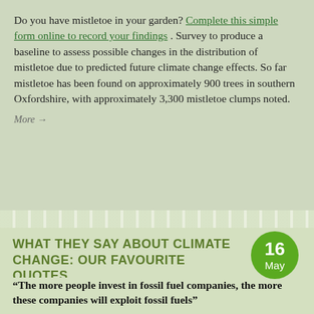Do you have mistletoe in your garden? Complete this simple form online to record your findings . Survey to produce a baseline to assess possible changes in the distribution of mistletoe due to predicted future climate change effects. So far mistletoe has been found on approximately 900 trees in southern Oxfordshire, with approximately 3,300 mistletoe clumps noted.
More →
WHAT THEY SAY ABOUT CLIMATE CHANGE: OUR FAVOURITE QUOTES
“The more people invest in fossil fuel companies, the more these companies will exploit fossil fuels”
— Bob Watson, former Chief Scientific Adviser to the UK...